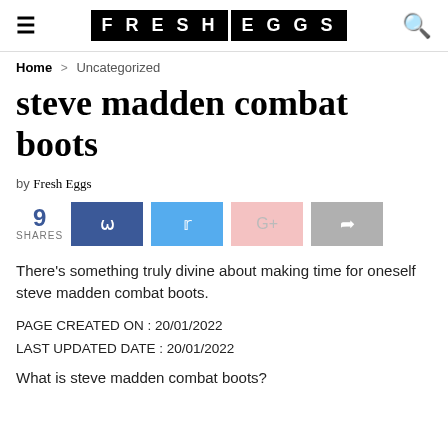FRESH EGGS
Home > Uncategorized
steve madden combat boots
by Fresh Eggs
9 SHARES
There's something truly divine about making time for oneself steve madden combat boots.
PAGE CREATED ON : 20/01/2022
LAST UPDATED DATE : 20/01/2022
What is steve madden combat boots?